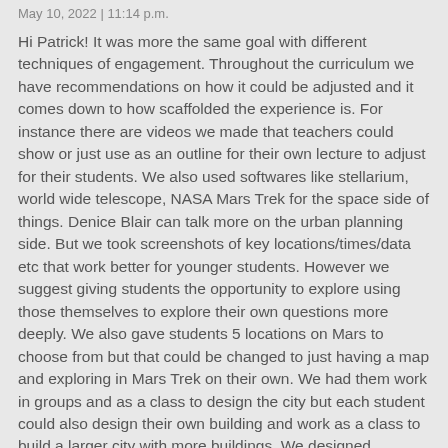May 10, 2022 | 11:14 p.m.
Hi Patrick! It was more the same goal with different techniques of engagement. Throughout the curriculum we have recommendations on how it could be adjusted and it comes down to how scaffolded the experience is. For instance there are videos we made that teachers could show or just use as an outline for their own lecture to adjust for their students. We also used softwares like stellarium, world wide telescope, NASA Mars Trek for the space side of things. Denice Blair can talk more on the urban planning side. But we took screenshots of key locations/times/data etc that work better for younger students. However we suggest giving students the opportunity to explore using those themselves to explore their own questions more deeply. We also gave students 5 locations on Mars to choose from but that could be changed to just having a map and exploring in Mars Trek on their own. We had them work in groups and as a class to design the city but each student could also design their own building and work as a class to build a larger city with more buildings. We designed worksheets to scaffold student observations and arguments that could be simply replaced with a prompt for older students is another example. It a robust set of